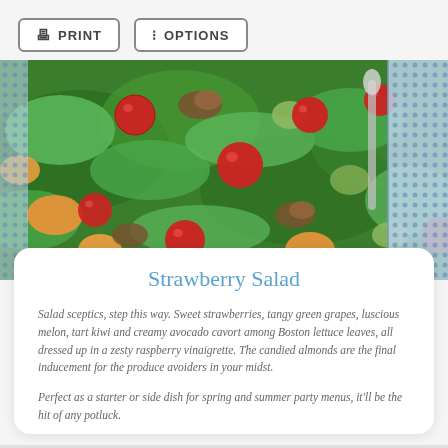PRINT
OPTIONS
[Figure (photo): Close-up photo of a strawberry salad with fresh strawberries, green lettuce leaves, melon, avocado, kiwi, and candied almonds in a bowl, with a blue patterned plate visible on the right side]
Strawberry Salad
Salad sceptics, step this way. Sweet strawberries, tangy green grapes, luscious melon, tart kiwi and creamy avocado cavort among Boston lettuce leaves, all dressed up in a zesty raspberry vinaigrette. The candied almonds are the final inducement for the produce avoiders in your midst.
Perfect as a starter or side dish for spring and summer party menus, it'll be the hit of any potluck.